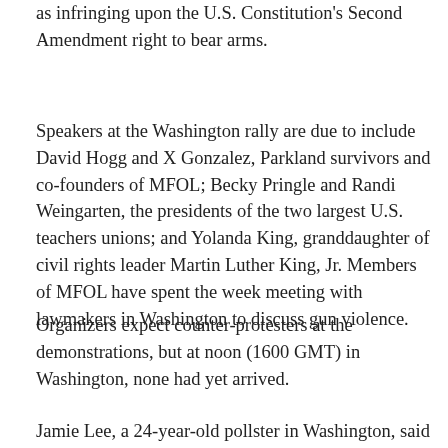as infringing upon the U.S. Constitution's Second Amendment right to bear arms.
Speakers at the Washington rally are due to include David Hogg and X Gonzalez, Parkland survivors and co-founders of MFOL; Becky Pringle and Randi Weingarten, the presidents of the two largest U.S. teachers unions; and Yolanda King, granddaughter of civil rights leader Martin Luther King, Jr. Members of MFOL have spent the week meeting with lawmakers in Washington to discuss gun violence.
Organizers expect counter-protesters at the demonstrations, but at noon (1600 GMT) in Washington, none had yet arrived.
Jamie Lee, a 24-year-old pollster in Washington, said she